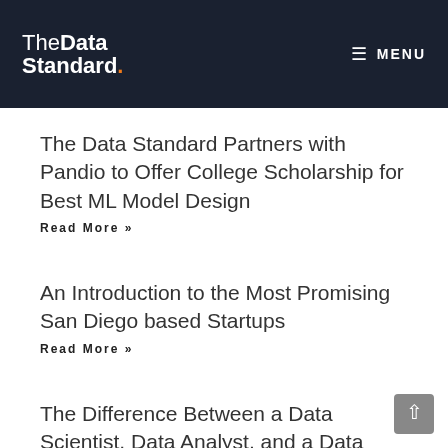TheDataStandard. MENU
The Data Standard Partners with Pandio to Offer College Scholarship for Best ML Model Design
Read More »
An Introduction to the Most Promising San Diego based Startups
Read More »
The Difference Between a Data Scientist, Data Analyst, and a Data Engineer